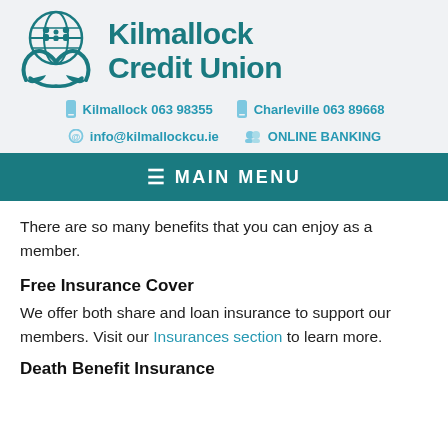[Figure (logo): Kilmallock Credit Union logo with globe and hands holding family, teal color]
Kilmallock Credit Union
Kilmallock 063 98355   Charleville 063 89668
info@kilmallockcu.ie   ONLINE BANKING
MAIN MENU
There are so many benefits that you can enjoy as a member.
Free Insurance Cover
We offer both share and loan insurance to support our members. Visit our Insurances section to learn more.
Death Benefit Insurance